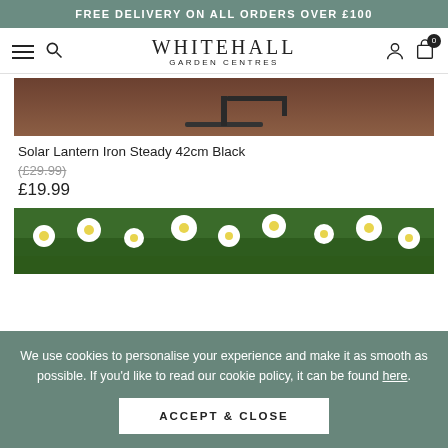FREE DELIVERY ON ALL ORDERS OVER £100
[Figure (logo): Whitehall Garden Centres logo with hamburger menu and search icon on left, user and cart icons on right]
[Figure (photo): Partial view of a black iron solar lantern product photo against a dark brown background]
Solar Lantern Iron Steady 42cm Black
(£29.99)
£19.99
[Figure (photo): Partial photo of white daisy flowers in a garden]
We use cookies to personalise your experience and make it as smooth as possible. If you'd like to read our cookie policy, it can be found here.
ACCEPT & CLOSE